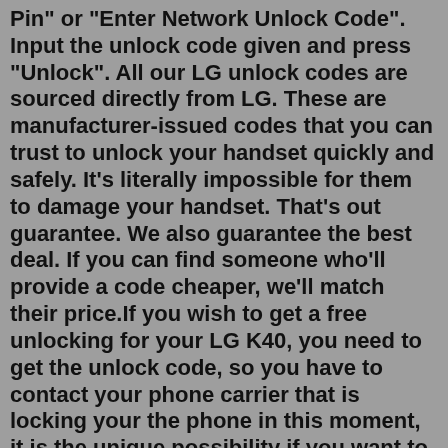Pin" or "Enter Network Unlock Code". Input the unlock code given and press "Unlock". All our LG unlock codes are sourced directly from LG. These are manufacturer-issued codes that you can trust to unlock your handset quickly and safely. It's literally impossible for them to damage your handset. That's out guarantee. We also guarantee the best deal. If you can find someone who'll provide a code cheaper, we'll match their price.If you wish to get a free unlocking for your LG K40, you need to get the unlock code, so you have to contact your phone carrier that is locking your the phone in this moment, it is the unique possibility if you want to have your phone unlocked for free. The carrier will provide you with the unlocking code if you are the cell phone plan owner. MetroPCS LG K40 Unlocking Instructions. Once you received unlock code on your email, follow the instructions given: Remove the original SIM card and Insert a non-accepted SIM card and power on. Open the Google Chrome Browser I'm trying to root my LG K40 MetroPCS with model number LM-